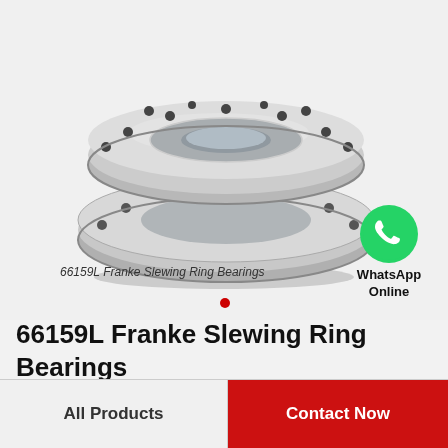[Figure (photo): Two stacked 66159L Franke slewing ring bearings, polished steel, circular with bolt holes]
66159L Franke Slewing Ring Bearings
[Figure (logo): WhatsApp green circle icon with phone handset, labeled WhatsApp Online]
66159L Franke Slewing Ring Bearings
All Products
Contact Now